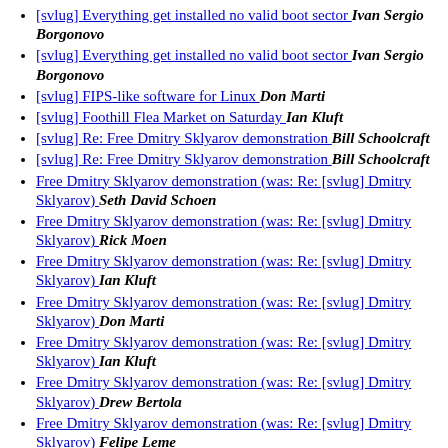[svlug] Everything get installed no valid boot sector   Ivan Sergio Borgonovo
[svlug] Everything get installed no valid boot sector   Ivan Sergio Borgonovo
[svlug] FIPS-like software for Linux   Don Marti
[svlug] Foothill Flea Market on Saturday   Ian Kluft
[svlug] Re: Free Dmitry Sklyarov demonstration   Bill Schoolcraft
[svlug] Re: Free Dmitry Sklyarov demonstration   Bill Schoolcraft
Free Dmitry Sklyarov demonstration (was: Re: [svlug] Dmitry Sklyarov)   Seth David Schoen
Free Dmitry Sklyarov demonstration (was: Re: [svlug] Dmitry Sklyarov)   Rick Moen
Free Dmitry Sklyarov demonstration (was: Re: [svlug] Dmitry Sklyarov)   Ian Kluft
Free Dmitry Sklyarov demonstration (was: Re: [svlug] Dmitry Sklyarov)   Don Marti
Free Dmitry Sklyarov demonstration (was: Re: [svlug] Dmitry Sklyarov)   Ian Kluft
Free Dmitry Sklyarov demonstration (was: Re: [svlug] Dmitry Sklyarov)   Drew Bertola
Free Dmitry Sklyarov demonstration (was: Re: [svlug] Dmitry Sklyarov)   Felipe Leme
Free Dmitry Sklyarov demonstration (was: Re: [svlug]